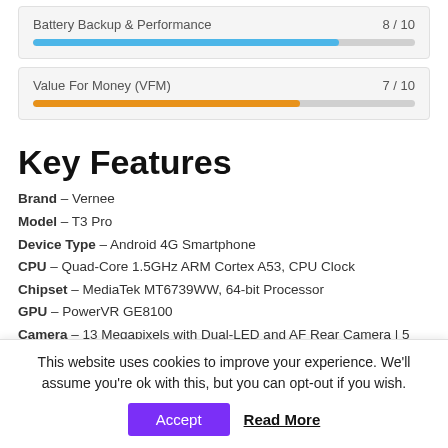[Figure (bar-chart): Battery Backup & Performance]
[Figure (bar-chart): Value For Money (VFM)]
Key Features
Brand – Vernee
Model – T3 Pro
Device Type – Android 4G Smartphone
CPU – Quad-Core 1.5GHz ARM Cortex A53, CPU Clock
Chipset – MediaTek MT6739WW, 64-bit Processor
GPU – PowerVR GE8100
Camera – 13 Megapixels with Dual-LED and AF Rear Camera | 5 Megapixel Front camera
Memory – RAM- 3GB LPDDR3. 677MHz | ROM 16GB External Memory
This website uses cookies to improve your experience. We'll assume you're ok with this, but you can opt-out if you wish.